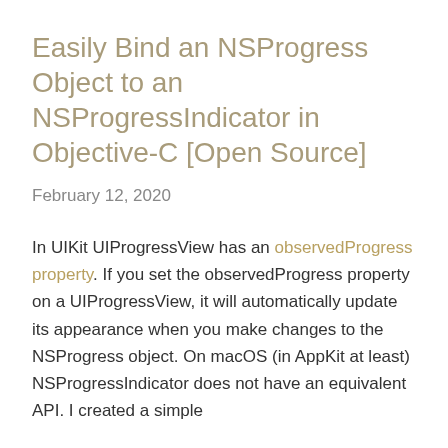Easily Bind an NSProgress Object to an NSProgressIndicator in Objective-C [Open Source]
February 12, 2020
In UIKit UIProgressView has an observedProgress property. If you set the observedProgress property on a UIProgressView, it will automatically update its appearance when you make changes to the NSProgress object. On macOS (in AppKit at least) NSProgressIndicator does not have an equivalent API. I created a simple